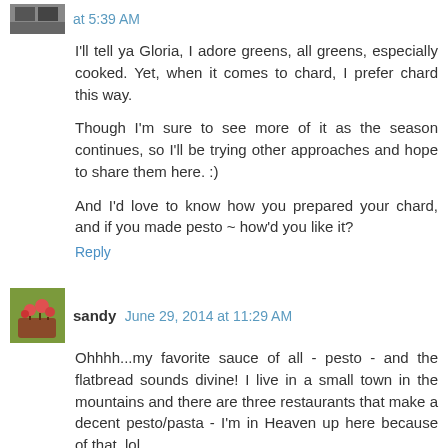at 5:39 AM
I'll tell ya Gloria, I adore greens, all greens, especially cooked. Yet, when it comes to chard, I prefer chard this way.
Though I'm sure to see more of it as the season continues, so I'll be trying other approaches and hope to share them here. :)
And I'd love to know how you prepared your chard, and if you made pesto ~ how'd you like it?
Reply
sandy June 29, 2014 at 11:29 AM
Ohhhh...my favorite sauce of all - pesto - and the flatbread sounds divine! I live in a small town in the mountains and there are three restaurants that make a decent pesto/pasta - I'm in Heaven up here because of that, lol.
Reply